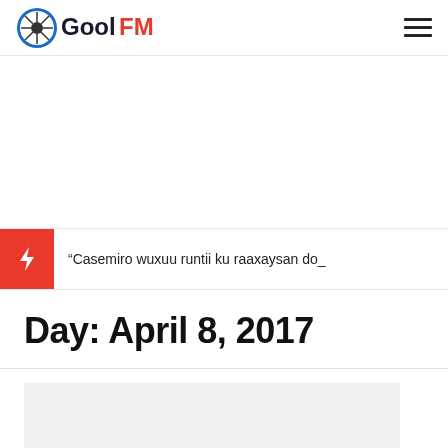GoolFM
“Casemiro wuxuu runtii ku raaxaysan do_
Day: April 8, 2017
[Figure (photo): Article image placeholder - light grey rectangle]